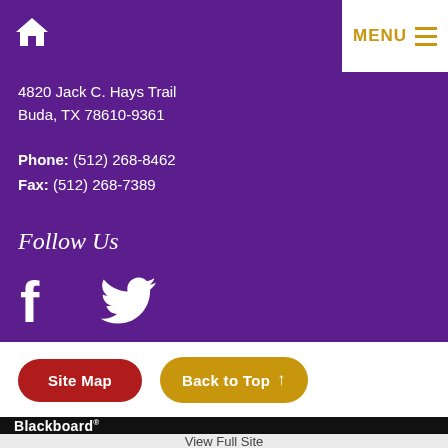MENU
4820 Jack C. Hays Trail
Buda, TX 78610-9361
Phone: (512) 268-8462
Fax: (512) 268-7389
Follow Us
[Figure (illustration): Facebook and Twitter social media icons in white on purple background]
Site Map
Back to Top ↑
Blackboard
View Full Site